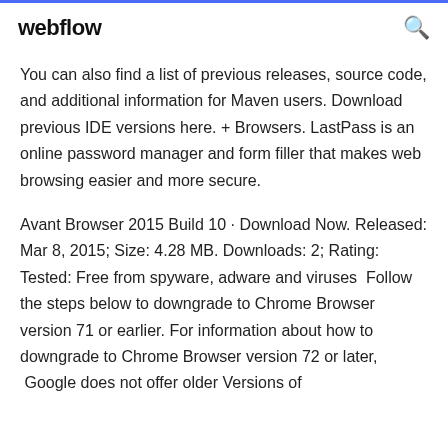webflow
You can also find a list of previous releases, source code, and additional information for Maven users. Download previous IDE versions here. + Browsers. LastPass is an online password manager and form filler that makes web browsing easier and more secure.
Avant Browser 2015 Build 10 · Download Now. Released: Mar 8, 2015; Size: 4.28 MB. Downloads: 2; Rating: Tested: Free from spyware, adware and viruses  Follow the steps below to downgrade to Chrome Browser version 71 or earlier. For information about how to downgrade to Chrome Browser version 72 or later,  Google does not offer older Versions of